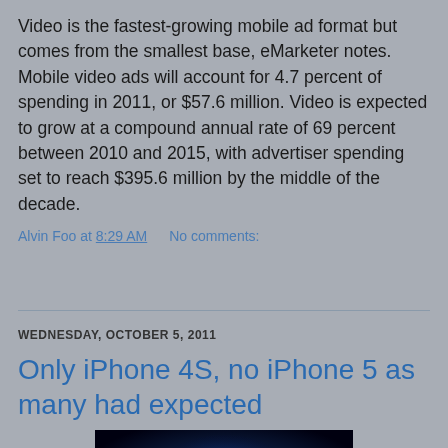Video is the fastest-growing mobile ad format but comes from the smallest base, eMarketer notes. Mobile video ads will account for 4.7 percent of spending in 2011, or $57.6 million. Video is expected to grow at a compound annual rate of 69 percent between 2010 and 2015, with advertiser spending set to reach $395.6 million by the middle of the decade.
Alvin Foo at 8:29 AM    No comments:
Share
WEDNESDAY, OCTOBER 5, 2011
Only iPhone 4S, no iPhone 5 as many had expected
[Figure (photo): Apple logo glowing blue on dark background]